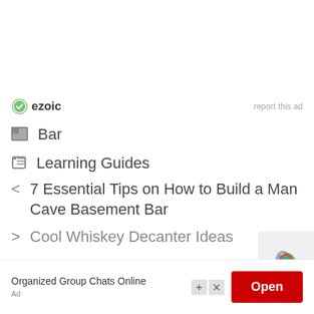[Figure (logo): Ezoic logo with green shield icon and bold text 'ezoic', with 'report this ad' link on right]
Bar
Learning Guides
< 7 Essential Tips on How to Build a Man Cave Basement Bar
> Cool Whiskey Decanter Ideas
[Figure (screenshot): Ad banner at bottom: 'Organized Group Chats Online' with red Open button and Ad label. reCAPTCHA widget partially visible at right.]